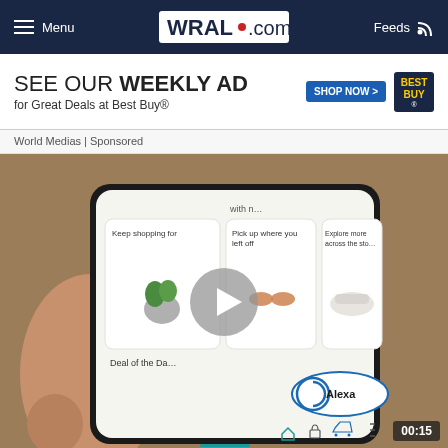Menu | WRAL.com | Feeds
[Figure (screenshot): Best Buy advertisement banner: SEE OUR WEEKLY AD for Great Deals at Best Buy® with SHOP NOW button and Best Buy logo]
World Medias | Sponsored
[Figure (screenshot): Video thumbnail showing a hand holding a smartphone displaying the Amazon shopping app with sections: Keep shopping for, Pick up where you left off, Explore more across the store, Deal of the Day, and Alexa button. A play button overlay is visible. Timer shows 00:15.]